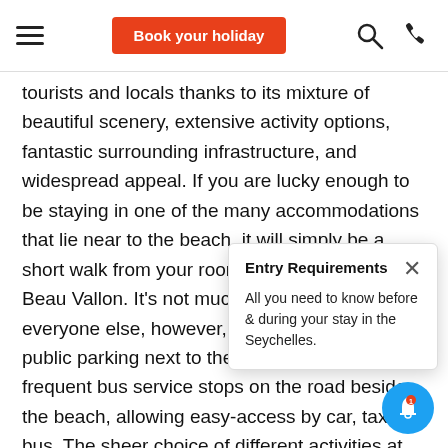Book your holiday
tourists and locals thanks to its mixture of beautiful scenery, extensive activity options, fantastic surrounding infrastructure, and widespread appeal. If you are lucky enough to be staying in one of the many accommodations that lie near to the beach, it will simply be a short walk from your room to the golden sand of Beau Vallon. It's not much more difficult for everyone else, however, as there is plenty of public parking next to the beach, and the frequent bus service stops on the road beside the beach, allowing easy-access by car, taxi, or bus. The sheer choice of different activities at Beau Vallon is unique in the Seychelles. The b... clear water are well-suited to relaxing be... the beautiful underwater scenery lends i... scuba diving; the widespread bay means... some surfing, windsurfing, kitesurfing, or jet skiing withou... disturbing others; and finally, the numerous excursions and re... options here mean that the only limit is what you want to spend
Entry Requirements
All you need to know before & during your stay in the Seychelles.